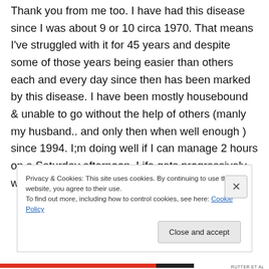Thank you from me too. I have had this disease since I was about 9 or 10 circa 1970. That means I've struggled with it for 45 years and despite some of those years being easier than others each and every day since then has been marked by this disease. I have been mostly housebound & unable to go without the help of others (manly my husband.. and only then when well enough ) since 1994. I;m doing well if I can manage 2 hours on a Saturday afternoon. Life gets progressively worse with each year that
Privacy & Cookies: This site uses cookies. By continuing to use this website, you agree to their use.
To find out more, including how to control cookies, see here: Cookie Policy